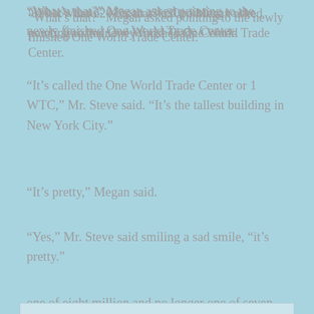“What’s that?” Megan asked pointing to the newly finished One World Trade Center.
“It’s called the One World Trade Center or 1 WTC,” Mr. Steve said. “It’s the tallest building in New York City.”
“It’s pretty,” Megan said.
“Yes,” Mr. Steve said smiling a sad smile, “it’s pretty.”
Privacy & Cookies: This site uses cookies. By continuing to use this website, you agree to their use. To find out more, including how to control cookies, see here: Cookie Policy
Close and accept
one of eight million and no longer one of seven